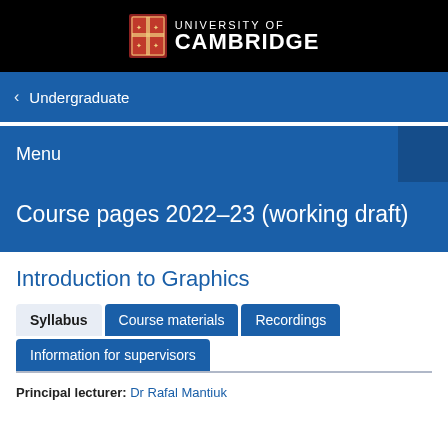[Figure (logo): University of Cambridge logo with crest on black background header bar]
Undergraduate
Menu
Course pages 2022–23 (working draft)
Introduction to Graphics
Syllabus | Course materials | Recordings | Information for supervisors
Principal lecturer: Dr Rafal Mantiuk